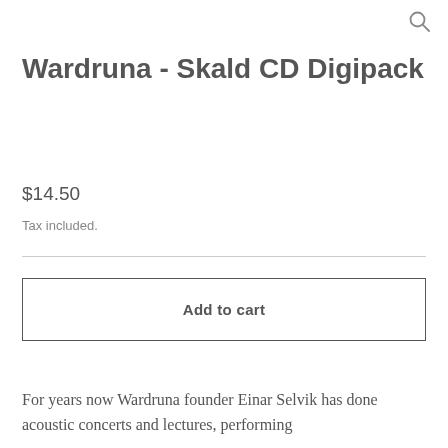[Figure (other): Search magnifying glass icon in top right corner]
Wardruna - Skald CD Digipack
$14.50
Tax included.
Add to cart
For years now Wardruna founder Einar Selvik has done acoustic concerts and lectures, performing